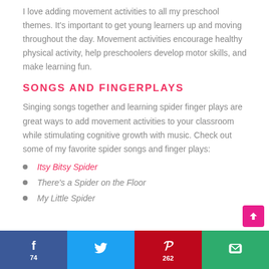I love adding movement activities to all my preschool themes. It's important to get young learners up and moving throughout the day. Movement activities encourage healthy physical activity, help preschoolers develop motor skills, and make learning fun.
SONGS AND FINGERPLAYS
Singing songs together and learning spider finger plays are great ways to add movement activities to your classroom while stimulating cognitive growth with music. Check out some of my favorite spider songs and finger plays:
Itsy Bitsy Spider
There's a Spider on the Floor
My Little Spider
f 74 | [tweet] | p 262 | [email]